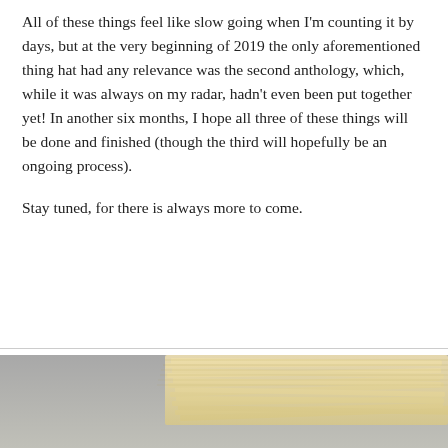All of these things feel like slow going when I'm counting it by days, but at the very beginning of 2019 the only aforementioned thing hat had any relevance was the second anthology, which, while it was always on my radar, hadn't even been put together yet! In another six months, I hope all three of these things will be done and finished (though the third will hopefully be an ongoing process).
Stay tuned, for there is always more to come.
[Figure (photo): A stack of papers or envelopes photographed from the side, showing multiple yellowed/tan colored sheets piled high, with a blurred grey background.]